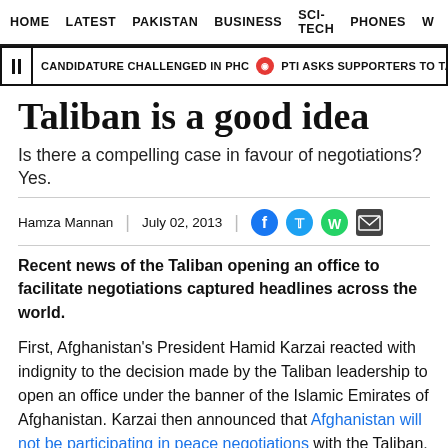HOME  LATEST  PAKISTAN  BUSINESS  SCI-TECH  PHONES  W
CANDIDATURE CHALLENGED IN PHC  PTI ASKS SUPPORTERS TO TAKE TO STREET
Taliban is a good idea
Is there a compelling case in favour of negotiations? Yes.
Hamza Mannan  |  July 02, 2013
Recent news of the Taliban opening an office to facilitate negotiations captured headlines across the world.
First, Afghanistan's President Hamid Karzai reacted with indignity to the decision made by the Taliban leadership to open an office under the banner of the Islamic Emirates of Afghanistan. Karzai then announced that Afghanistan will not be participating in peace negotiations with the Taliban. What followed was last week's bombing by the Taliban at